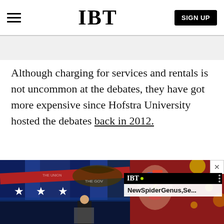IBT  SIGN UP
Although charging for services and rentals is not uncommon at the debates, they have got more expensive since Hofstra University hosted the debates back in 2012.
[Figure (photo): Presidential debate photo showing two candidates at podiums on a blue-lit stage, with an IBT overlay card showing 'NewSpiderGenus,Se...' and a close (X) button. The left portion shows the US presidential debate backdrop with stars and eagle imagery.]